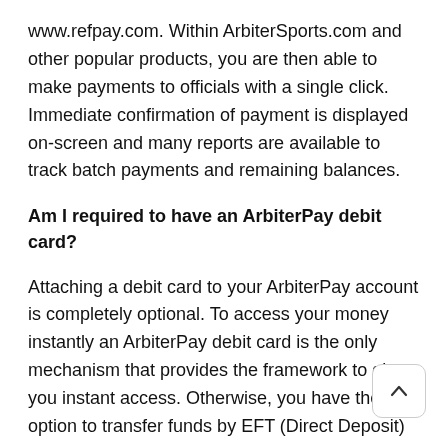www.refpay.com. Within ArbiterSports.com and other popular products, you are then able to make payments to officials with a single click. Immediate confirmation of payment is displayed on-screen and many reports are available to track batch payments and remaining balances.
Am I required to have an ArbiterPay debit card?
Attaching a debit card to your ArbiterPay account is completely optional. To access your money instantly an ArbiterPay debit card is the only mechanism that provides the framework to give you instant access. Otherwise, you have the option to transfer funds by EFT (Direct Deposit) to